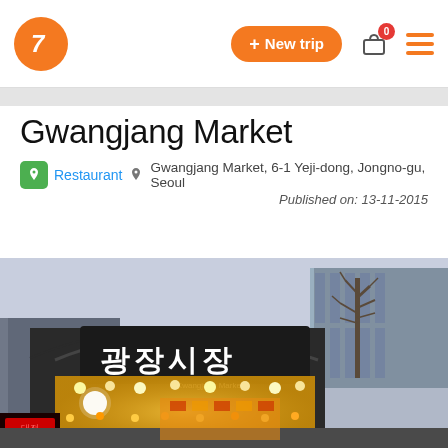+ New trip  0  ☰
Gwangjang Market
Restaurant  Gwangjang Market, 6-1 Yeji-dong, Jongno-gu, Seoul  Published on: 13-11-2015
[Figure (photo): Exterior photograph of Gwangjang Market entrance at dusk, showing the arched sign with Korean text 광장시장 (Gwangjang Market), illuminated market stalls visible through the arch, a bare tree to the right, and a modern building in the background.]